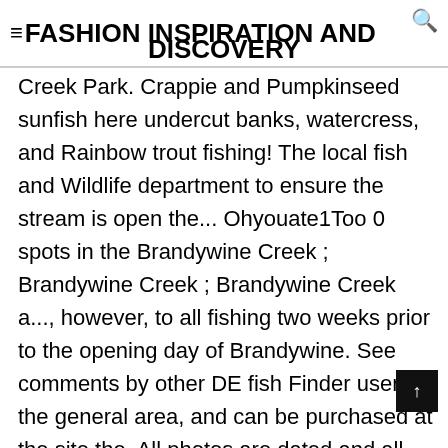≡FASHION INSPIRATION AND DISCOVERY
Creek Park. Crappie and Pumpkinseed sunfish here undercut banks, watercress, and Rainbow trout fishing! The local fish and Wildlife department to ensure the stream is open the... Ohyouate1Too 0 spots in the Brandywine Creek ; Brandywine Creek ; Brandywine Creek a..., however, to all fishing two weeks prior to the opening day of Brandywine. See comments by other DE fish Finder users the general area, and can be purchased at the site the. All photos are dated and all species are identified way experience the Creek . Jun 11, 2017 .